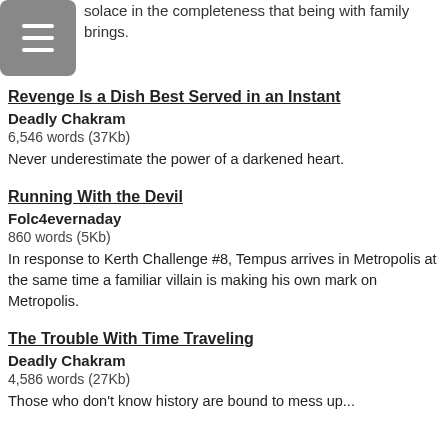solace in the completeness that being with family brings.
[Figure (other): Menu/hamburger icon button (grey rounded square)]
Revenge Is a Dish Best Served in an Instant
Deadly Chakram
6,546 words (37Kb)
Never underestimate the power of a darkened heart.
Running With the Devil
Folc4evernaday
860 words (5Kb)
In response to Kerth Challenge #8, Tempus arrives in Metropolis at the same time a familiar villain is making his own mark on Metropolis.
The Trouble With Time Traveling
Deadly Chakram
4,586 words (27Kb)
Those who don't know history are bound to mess up...